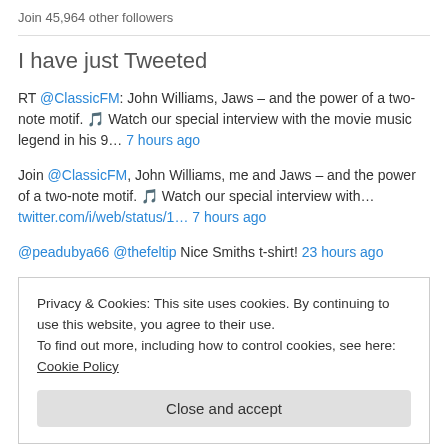Join 45,964 other followers
I have just Tweeted
RT @ClassicFM: John Williams, Jaws – and the power of a two-note motif. 🎵 Watch our special interview with the movie music legend in his 9… 7 hours ago
Join @ClassicFM, John Williams, me and Jaws – and the power of a two-note motif. 🎵 Watch our special interview with… twitter.com/i/web/status/1… 7 hours ago
@peadubya66 @thefeltip Nice Smiths t-shirt! 23 hours ago
Privacy & Cookies: This site uses cookies. By continuing to use this website, you agree to their use. To find out more, including how to control cookies, see here: Cookie Policy